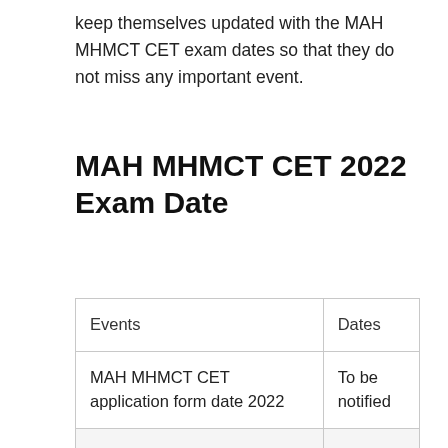keep themselves updated with the MAH MHMCT CET exam dates so that they do not miss any important event.
MAH MHMCT CET 2022 Exam Date
| Events | Dates |
| --- | --- |
| MAH MHMCT CET application form date 2022 | To be notified |
| Last date to pay application fee | To be notified |
|  | To be |